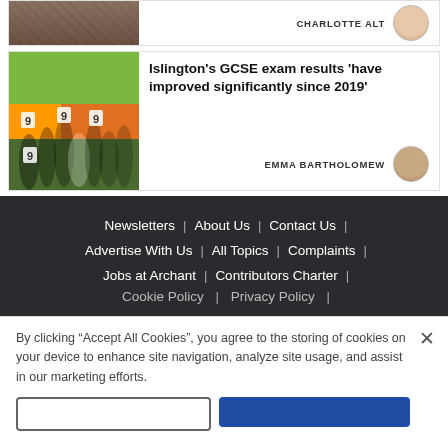[Figure (photo): Partial news card at top showing a group photo thumbnail and author name CHARLOTTE ALT]
CHARLOTTE ALT
[Figure (photo): News card with thumbnail of students celebrating GCSE results holding signs, colorful background]
Islington's GCSE exam results 'have improved significantly since 2019'
EMMA BARTHOLOMEW
Newsletters | About Us | Contact Us |
Advertise With Us | All Topics | Complaints |
Jobs at Archant | Contributors Charter |
Cookie Policy | Privacy Policy |
By clicking “Accept All Cookies”, you agree to the storing of cookies on your device to enhance site navigation, analyze site usage, and assist in our marketing efforts.